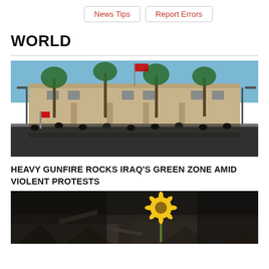News Tips  Report Errors
WORLD
[Figure (photo): Crowd of protesters gathered in front of a large government building in Iraq's Green Zone, with palm trees and a flag flying overhead, under a blue sky.]
HEAVY GUNFIRE ROCKS IRAQ'S GREEN ZONE AMID VIOLENT PROTESTS
[Figure (photo): A single sunflower growing amid rubble and debris, dark blurred background, dramatic close-up.]